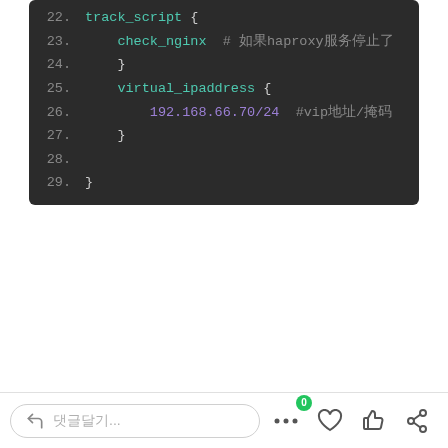[Figure (screenshot): Code block showing lines 22-29 of a keepalived configuration file with syntax highlighting. Line 22: track_script {, Line 23: check_nginx # (comment about haproxy), Line 24: }, Line 25: virtual_ipaddress {, Line 26: 192.168.66.70/24 #vip (comment), Line 27: }, Line 28: (empty), Line 29: }]
댓글... 0 ♡ 👍 share